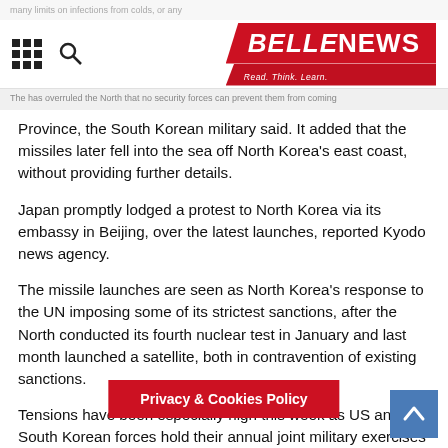BELLENEWS - Read. Think. Learn.
Province, the South Korean military said. It added that the missiles later fell into the sea off North Korea's east coast, without providing further details.
Japan promptly lodged a protest to North Korea via its embassy in Beijing, over the latest launches, reported Kyodo news agency.
The missile launches are seen as North Korea's response to the UN imposing some of its strictest sanctions, after the North conducted its fourth nuclear test in January and last month launched a satellite, both in contravention of existing sanctions.
Tensions have been especially high this week as US and South Korean forces hold their annual joint military exercises known as Key Resolve and Foal Eagle.
This year they are the largest ever, with about 17,000 US personnel and around 300,000 South Ko— both significant increases on 2015 naval and air